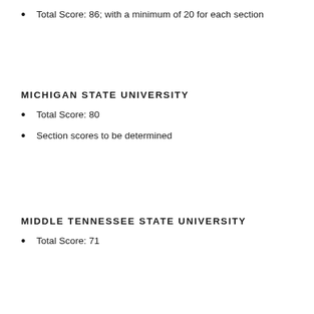Total Score: 86; with a minimum of 20 for each section
MICHIGAN STATE UNIVERSITY
Total Score: 80
Section scores to be determined
MIDDLE TENNESSEE STATE UNIVERSITY
Total Score: 71